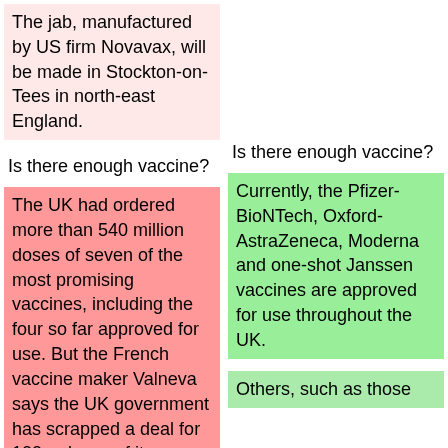The jab, manufactured by US firm Novavax, will be made in Stockton-on-Tees in north-east England.
Is there enough vaccine?
Is there enough vaccine?
The UK had ordered more than 540 million doses of seven of the most promising vaccines, including the four so far approved for use. But the French vaccine maker Valneva says the UK government has scrapped a deal for 100m doses of its vaccine, which is yet to be approved.
Currently, the Pfizer-BioNTech, Oxford-AstraZeneca, Moderna and one-shot Janssen vaccines are approved for use throughout the UK.
An extra 35 million doses
Others, such as those